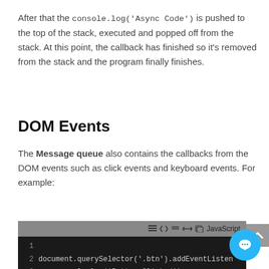After that the console.log('Async Code') is pushed to the top of the stack, executed and popped off from the stack. At this point, the callback has finished so it's removed from the stack and the program finally finishes.
DOM Events
The Message queue also contains the callbacks from the DOM events such as click events and keyboard events. For example:
[Figure (screenshot): A code editor screenshot showing JavaScript code: document.querySelector('.btn').addEventListener with console.log('Button Clicked'); and }); on following lines, with line numbers 1-5 visible on a dark background.]